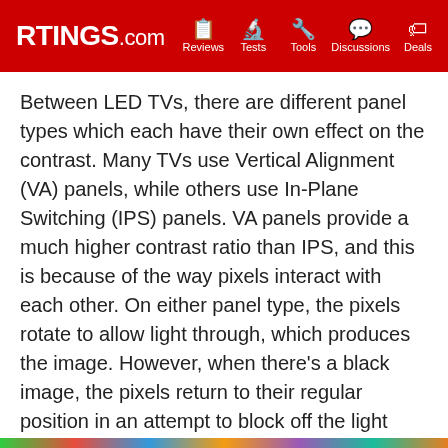RTINGS.com | Reviews | Tests | Tools | Discussions | Deals
Between LED TVs, there are different panel types which each have their own effect on the contrast. Many TVs use Vertical Alignment (VA) panels, while others use In-Plane Switching (IPS) panels. VA panels provide a much higher contrast ratio than IPS, and this is because of the way pixels interact with each other. On either panel type, the pixels rotate to allow light through, which produces the image. However, when there's a black image, the pixels return to their regular position in an attempt to block off the light from the LED backlights. The vertical positioning of pixels in VA panels is more efficient at blocking off light, while IPS panels still let some light through, making blacks look gray.
Learn more about VA and IPS panels